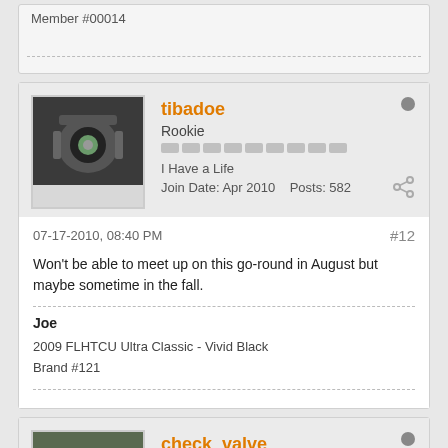Member #00014
tibadoe
Rookie
I Have a Life
Join Date: Apr 2010    Posts: 582
07-17-2010, 08:40 PM
#12
Won't be able to meet up on this go-round in August but maybe sometime in the fall.
Joe
2009 FLHTCU Ultra Classic - Vivid Black
Brand #121
check_valve
_- Fearless -_